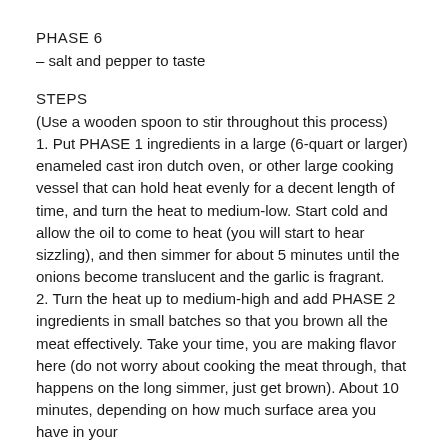PHASE 6
– salt and pepper to taste
STEPS
(Use a wooden spoon to stir throughout this process)
1. Put PHASE 1 ingredients in a large (6-quart or larger) enameled cast iron dutch oven, or other large cooking vessel that can hold heat evenly for a decent length of time, and turn the heat to medium-low. Start cold and allow the oil to come to heat (you will start to hear sizzling), and then simmer for about 5 minutes until the onions become translucent and the garlic is fragrant.
2. Turn the heat up to medium-high and add PHASE 2 ingredients in small batches so that you brown all the meat effectively. Take your time, you are making flavor here (do not worry about cooking the meat through, that happens on the long simmer, just get brown). About 10 minutes, depending on how much surface area you have in your